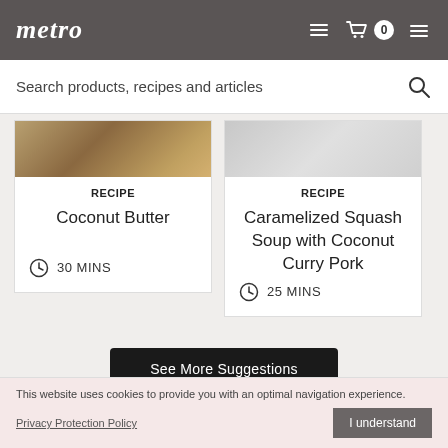metro
Search products, recipes and articles
[Figure (screenshot): Recipe card for Coconut Butter showing RECIPE label, title, and 30 MINS time]
[Figure (screenshot): Recipe card for Caramelized Squash Soup with Coconut Curry Pork showing RECIPE label, title, and 25 MINS time]
See More Suggestions
This website uses cookies to provide you with an optimal navigation experience.
Privacy Protection Policy
I understand